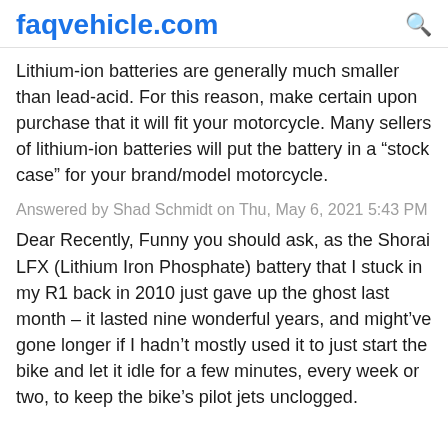faqvehicle.com
Lithium-ion batteries are generally much smaller than lead-acid. For this reason, make certain upon purchase that it will fit your motorcycle. Many sellers of lithium-ion batteries will put the battery in a “stock case” for your brand/model motorcycle.
Answered by Shad Schmidt on Thu, May 6, 2021 5:43 PM
Dear Recently, Funny you should ask, as the Shorai LFX (Lithium Iron Phosphate) battery that I stuck in my R1 back in 2010 just gave up the ghost last month – it lasted nine wonderful years, and might’ve gone longer if I hadn’t mostly used it to just start the bike and let it idle for a few minutes, every week or two, to keep the bike’s pilot jets unclogged.